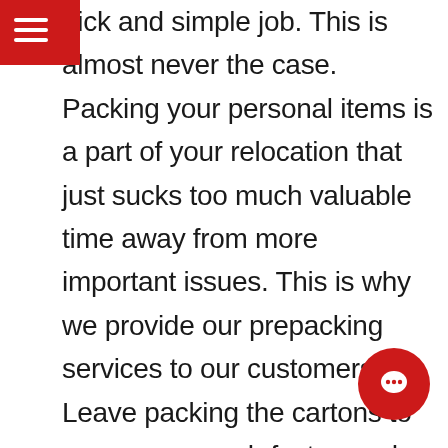≡ (hamburger menu icon)
uick and simple job. This is almost never the case. Packing your personal items is a part of your relocation that just sucks too much valuable time away from more important issues. This is why we provide our prepacking services to our customers. Leave packing the cartons to us, we are much faster, and know the best way to pack everything to significantly help reduce damage to your personal belongings. We only use the best wrapping materials and top qu removal cartons for our prepacking